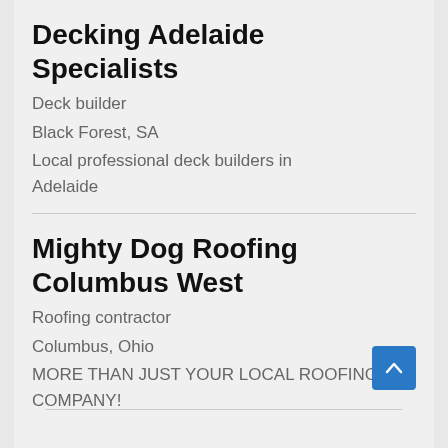Decking Adelaide Specialists
Deck builder
Black Forest, SA
Local professional deck builders in Adelaide
Mighty Dog Roofing Columbus West
Roofing contractor
Columbus, Ohio
MORE THAN JUST YOUR LOCAL ROOFING COMPANY!